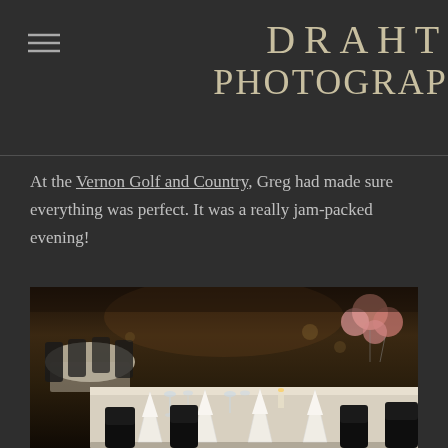DRAHT PHOTOGRAPHY
At the Vernon Golf and Country, Greg had made sure everything was perfect. It was a really jam-packed evening!
[Figure (photo): Elegant banquet dinner table setting with white tablecloths, folded white napkins, glassware, black chair covers, and pink balloons in the background, at Vernon Golf and Country Club.]